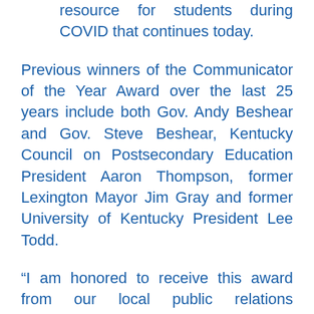including an online mental health resource for students during COVID that continues today.
Previous winners of the Communicator of the Year Award over the last 25 years include both Gov. Andy Beshear and Gov. Steve Beshear, Kentucky Council on Postsecondary Education President Aaron Thompson, former Lexington Mayor Jim Gray and former University of Kentucky President Lee Todd.
“I am honored to receive this award from our local public relations professionals,” Czarapata said. “I’m truly humbled to be among this prestigious list of award recipients.”